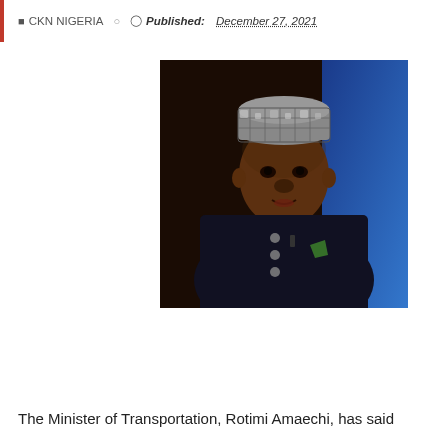CKN NIGERIA  Published: December 27, 2021
[Figure (photo): Portrait photo of Rotimi Amaechi, Minister of Transportation, wearing a black traditional Nigerian outfit and an embroidered cap, seated against a dark and blue background during an interview or television appearance.]
The Minister of Transportation, Rotimi Amaechi, has said